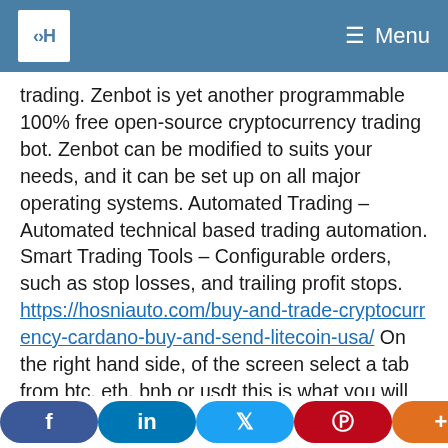CCH | Menu
trading. Zenbot is yet another programmable 100% free open-source cryptocurrency trading bot. Zenbot can be modified to suits your needs, and it can be set up on all major operating systems. Automated Trading – Automated technical based trading automation. Smart Trading Tools – Configurable orders, such as stop losses, and trailing profit stops. https://hosniauto.com/buy-and-trade-cryptocurrency-cardano-buy-and-send-litecoin-usa/ On the right hand side, of the screen select a tab from btc, eth, bnb or usdt this is what you will be trading in. Then choose your desired currency from the — it
f | in | t | p | +